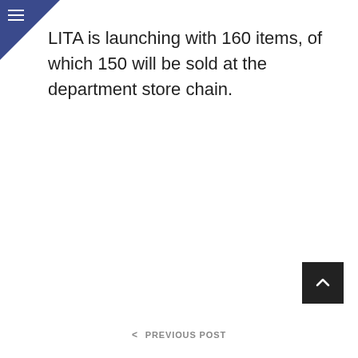LITA is launching with 160 items, of which 150 will be sold at the department store chain.
< PREVIOUS POST